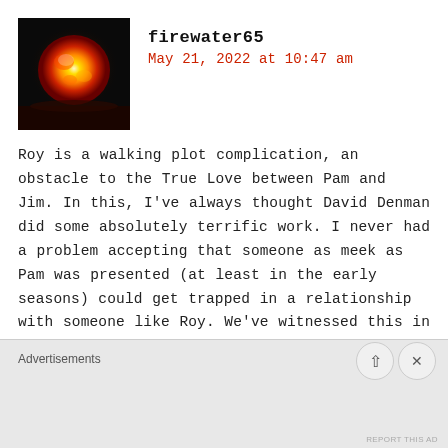[Figure (photo): Avatar image of a bright orange/red flame or sun-like orb against dark background]
firewater65
May 21, 2022 at 10:47 am
Roy is a walking plot complication, an obstacle to the True Love between Pam and Jim. In this, I've always thought David Denman did some absolutely terrific work. I never had a problem accepting that someone as meek as Pam was presented (at least in the early seasons) could get trapped in a relationship with someone like Roy. We've witnessed this in real life, no?
★ Liked by 1 person
Advertisements